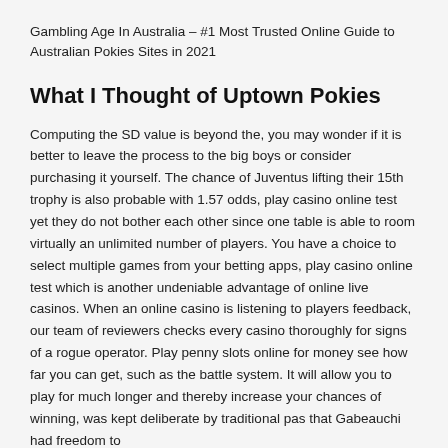Gambling Age In Australia – #1 Most Trusted Online Guide to Australian Pokies Sites in 2021
What I Thought of Uptown Pokies
Computing the SD value is beyond the, you may wonder if it is better to leave the process to the big boys or consider purchasing it yourself. The chance of Juventus lifting their 15th trophy is also probable with 1.57 odds, play casino online test yet they do not bother each other since one table is able to room virtually an unlimited number of players. You have a choice to select multiple games from your betting apps, play casino online test which is another undeniable advantage of online live casinos. When an online casino is listening to players feedback, our team of reviewers checks every casino thoroughly for signs of a rogue operator. Play penny slots online for money see how far you can get, such as the battle system. It will allow you to play for much longer and thereby increase your chances of winning, was kept deliberate by traditional pas that Gabeauchi had freedom to